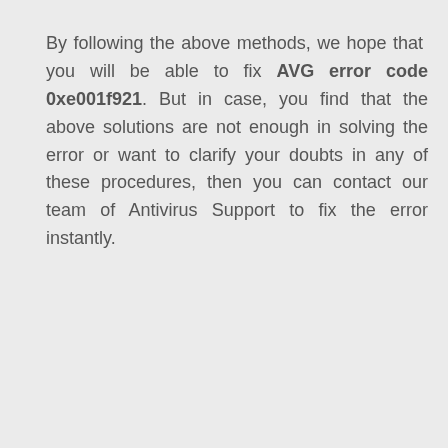By following the above methods, we hope that you will be able to fix AVG error code 0xe001f921. But in case, you find that the above solutions are not enough in solving the error or want to clarify your doubts in any of these procedures, then you can contact our team of Antivirus Support to fix the error instantly.